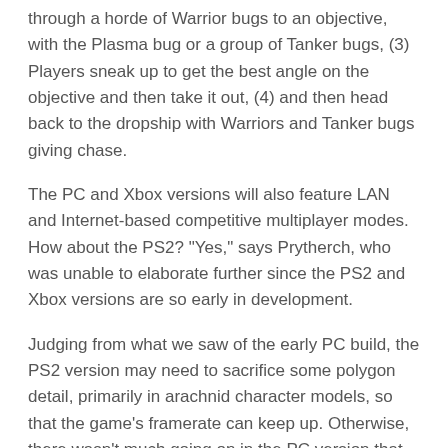through a horde of Warrior bugs to an objective, with the Plasma bug or a group of Tanker bugs, (3) Players sneak up to get the best angle on the objective and then take it out, (4) and then head back to the dropship with Warriors and Tanker bugs giving chase.
The PC and Xbox versions will also feature LAN and Internet-based competitive multiplayer modes. How about the PS2? "Yes," says Prytherch, who was unable to elaborate further since the PS2 and Xbox versions are so early in development.
Judging from what we saw of the early PC build, the PS2 version may need to sacrifice some polygon detail, primarily in arachnid character models, so that the game's framerate can keep up. Otherwise, there wasn't much going on in the PC version that the PS2 can't do.
The PC version of Starship Troopers is due out sometime this upcoming winter (between December '04 and March '05). The PS2 and Xbox versions are slated to follow in mid to late 2005.
SHARE THIS:
Twitter
Facebook